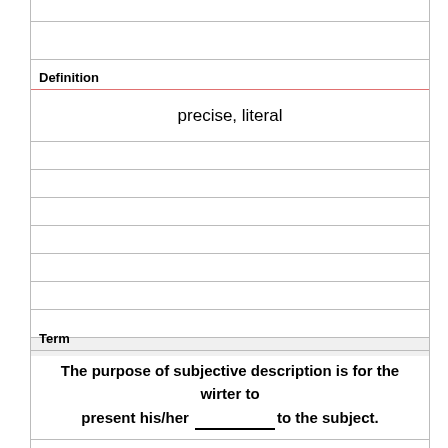Definition
precise, literal
Term
The purpose of subjective description is for the wirter to present his/her __________ to the subject.